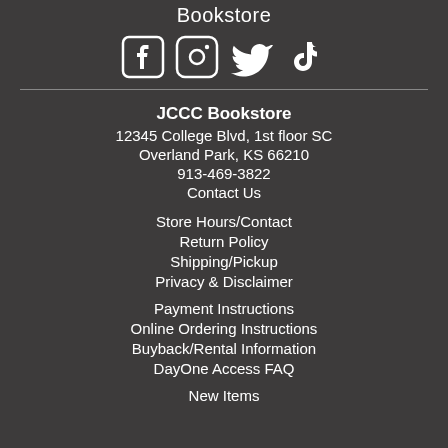Bookstore
[Figure (illustration): Social media icons: Facebook, Instagram, Twitter, TikTok]
JCCC Bookstore
12345 College Blvd, 1st floor SC
Overland Park, KS 66210
913-469-3822
Contact Us
Store Hours/Contact
Return Policy
Shipping/Pickup
Privacy & Disclaimer
Payment Instructions
Online Ordering Instructions
Buyback/Rental Information
DayOne Access FAQ
New Items